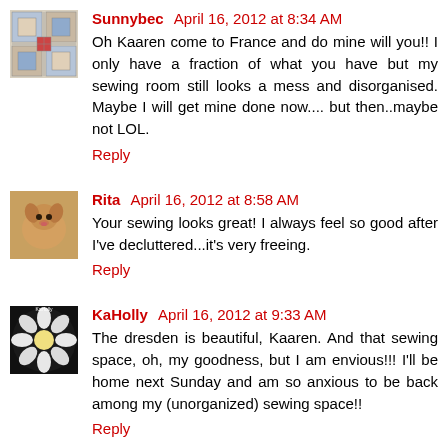Sunnybec April 16, 2012 at 8:34 AM
Oh Kaaren come to France and do mine will you!! I only have a fraction of what you have but my sewing room still looks a mess and disorganised. Maybe I will get mine done now.... but then..maybe not LOL.
Reply
Rita April 16, 2012 at 8:58 AM
Your sewing looks great! I always feel so good after I've decluttered...it's very freeing.
Reply
KaHolly April 16, 2012 at 9:33 AM
The dresden is beautiful, Kaaren. And that sewing space, oh, my goodness, but I am envious!!! I'll be home next Sunday and am so anxious to be back among my (unorganized) sewing space!!
Reply